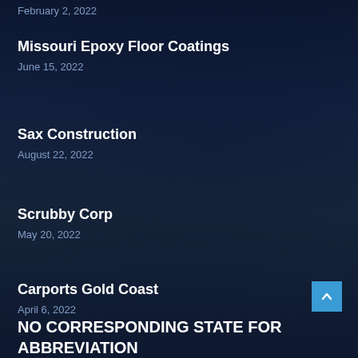February 2, 2022
Missouri Epoxy Floor Coatings
June 15, 2022
Sax Construction
August 22, 2022
Scrubby Corp
May 20, 2022
Carports Gold Coast
April 6, 2022
NO CORRESPONDING STATE FOR ABBREVIATION